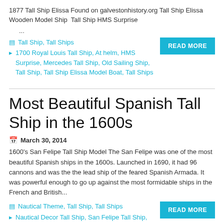1877 Tall Ship Elissa Found on galvestonhistory.org Tall Ship Elissa Wooden Model Ship  Tall Ship HMS Surprise
...
Tall Ship, Tall Ships
1700 Royal Louis Tall Ship, At helm, HMS Surprise, Mercedes Tall Ship, Old Sailing Ship, Tall Ship, Tall Ship Elissa Model Boat, Tall Ships
Most Beautiful Spanish Tall Ship in the 1600s
March 30, 2014
1600's San Felipe Tall Ship Model The San Felipe was one of the most beautiful Spanish ships in the 1600s. Launched in 1690, it had 96 cannons and was the the lead ship of the feared Spanish Armada. It was powerful enough to go up against the most formidable ships in the French and British...
Nautical Theme, Tall Ship, Tall Ships
Nautical Decor Tall Ship, San Felipe Tall Ship,